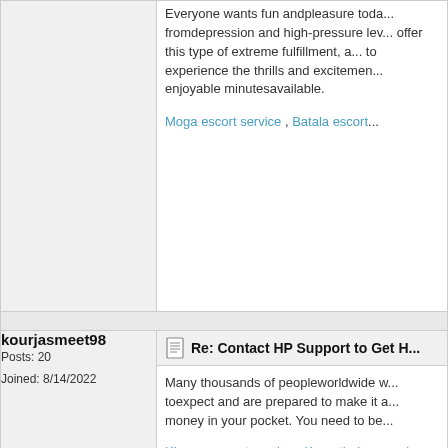Everyone wants fun andpleasure today. fromdepression and high-pressure lev... offer this type of extreme fulfillment, a... to experience the thrills and excitemen... enjoyable minutesavailable.
Moga escort service , Batala escort...
kourjasmeet98
Posts: 20
Joined: 8/14/2022
Re: Contact HP Support to Get H...
Many thousands of peopleworldwide w... toexpect and are prepared to make it a... money in your pocket. You need to be...
Khanna escort service , Kapurthala... service
kourjasmeet98
Posts: 20
Joined: 8/14/2022
Re: Contact HP Support to Get H...
Ludhiana Escorts can beyoung, strong... a beautiful, attractive girl willing to put... girls are like chromic defenses and wil... amazing looks andlive a life not influe...